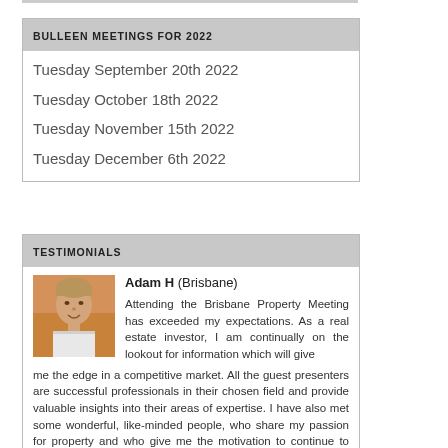BULLEEN MEETINGS FOR 2022
Tuesday September 20th 2022
Tuesday October 18th 2022
Tuesday November 15th 2022
Tuesday December 6th 2022
TESTIMONIALS
[Figure (photo): Headshot photo of Adam H from Brisbane, a young man with short hair smiling]
Adam H (Brisbane) Attending the Brisbane Property Meeting has exceeded my expectations. As a real estate investor, I am continually on the lookout for information which will give me the edge in a competitive market. All the guest presenters are successful professionals in their chosen field and provide valuable insights into their areas of expertise. I have also met some wonderful, like-minded people, who share my passion for property and who give me the motivation to continue to push forward towards my goals. I look forward to